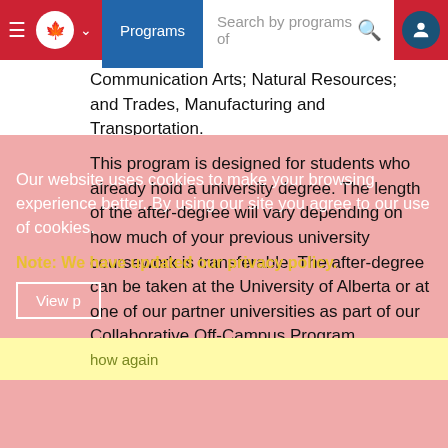[Figure (screenshot): University program website navigation bar with hamburger menu, Canadian maple leaf logo, Programs button, search bar, and user icon on a red background]
Communication Arts; Natural Resources; and Trades, Manufacturing and Transportation.
This program is designed for students who already hold a university degree. The length of the after-degree will vary depending on how much of your previous university coursework is transferable. The after-degree can be taken at the University of Alberta or at one of our partner universities as part of our Collaborative Off-Campus Program.
Our website uses cookies to make your browsing experience better. By using our site you agree to our use of cookies.
Note: We have updated our privacy policy.
View p[olicy] [Don't show again]